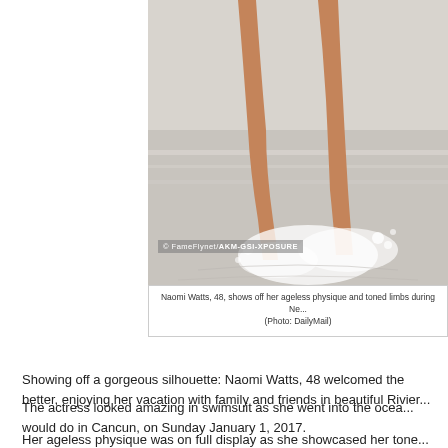[Figure (photo): Photo of Naomi Watts, 48, showing toned legs walking in ocean water at the beach, with splashing water around her feet. Watermark reads: © FameFlynet/AKM-GSI-XPOSURE]
Naomi Watts, 48, shows off her ageless physique and toned limbs during Ne... (Photo: DailyMail)
Showing off a gorgeous silhouette: Naomi Watts, 48 welcomed the better, enjoying her vacation with family and friends in beautiful Rivier...
The actress looked amazing in swimsuit as she went into the ocea... would do in Cancun, on Sunday January 1, 2017.
Her ageless physique was on full display as she showcased her tone...